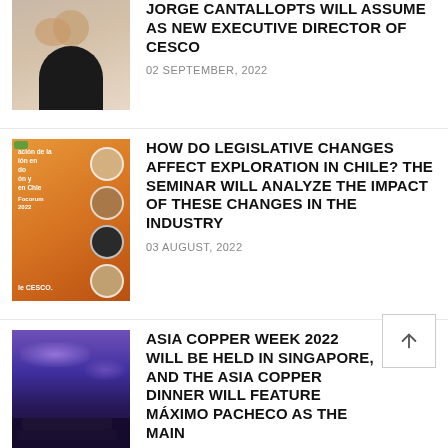[Figure (photo): Portrait photo of a man in a dark suit with a red tie, against a neutral background]
JORGE CANTALLOPTS WILL ASSUME AS NEW EXECUTIVE DIRECTOR OF CESCO
02 SEPTEMBER, 2022
[Figure (photo): Seminar promotional image with orange background, showing multiple speaker portraits in hexagonal frames and text about legislation and exploration in Chile, CESCO branding]
HOW DO LEGISLATIVE CHANGES AFFECT EXPLORATION IN CHILE? THE SEMINAR WILL ANALYZE THE IMPACT OF THESE CHANGES IN THE INDUSTRY
03 AUGUST, 2022
[Figure (photo): Gala dinner hall photo with purple lighting, tables set for an event, silhouettes of attendees]
ASIA COPPER WEEK 2022 WILL BE HELD IN SINGAPORE, AND THE ASIA COPPER DINNER WILL FEATURE MÁXIMO PACHECO AS THE MAIN...